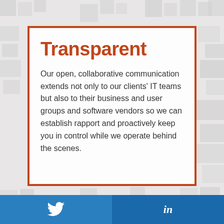[Figure (infographic): Background mosaic of gray and light gray square tiles arranged in a decorative pattern]
Transparent
Our open, collaborative communication extends not only to our clients' IT teams but also to their business and user groups and software vendors so we can establish rapport and proactively keep you in control while we operate behind the scenes.
Twitter and LinkedIn social media icons